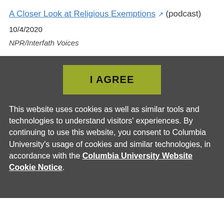A Closer Look at Religious Exemptions (podcast)
10/4/2020
NPR/Interfath Voices
[Figure (other): A yellow-green 'I AGREE' button on dark gray background]
This website uses cookies as well as similar tools and technologies to understand visitors' experiences. By continuing to use this website, you consent to Columbia University's usage of cookies and similar technologies, in accordance with the Columbia University Website Cookie Notice.